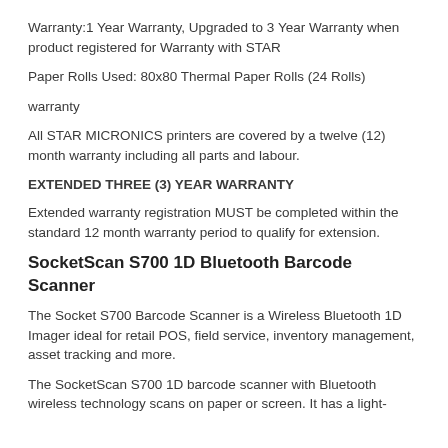Warranty:1 Year Warranty, Upgraded to 3 Year Warranty when product registered for Warranty with STAR
Paper Rolls Used: 80x80 Thermal Paper Rolls (24 Rolls)
warranty
All STAR MICRONICS printers are covered by a twelve (12) month warranty including all parts and labour.
EXTENDED THREE (3) YEAR WARRANTY
Extended warranty registration MUST be completed within the standard 12 month warranty period to qualify for extension.
SocketScan S700 1D Bluetooth Barcode Scanner
The Socket S700 Barcode Scanner is a Wireless Bluetooth 1D Imager ideal for retail POS, field service, inventory management, asset tracking and more.
The SocketScan S700 1D barcode scanner with Bluetooth wireless technology scans on paper or screen. It has a light-